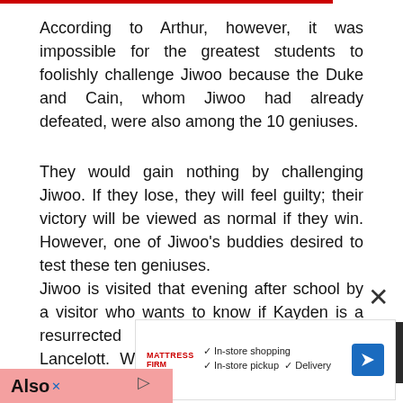According to Arthur, however, it was impossible for the greatest students to foolishly challenge Jiwoo because the Duke and Cain, whom Jiwoo had already defeated, were also among the 10 geniuses.
They would gain nothing by challenging Jiwoo. If they lose, they will feel guilty; their victory will be viewed as normal if they win. However, one of Jiwoo's buddies desired to test these ten geniuses.
Jiwoo is visited that evening after school by a visitor who wants to know if Kayden is a resurrected unique cat who can battle Lancelott. Who would have imagined that even this individual was surprised Guess
[Figure (screenshot): Advertisement overlay from Mattress Firm showing in-store shopping, in-store pickup, and delivery options with a blue navigation arrow icon. Also shows a dark box with 're 1' text and a pink 'Also' bar at the bottom.]